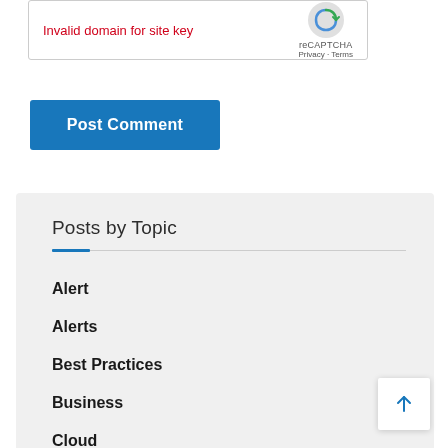[Figure (screenshot): reCAPTCHA widget showing 'Invalid domain for site key' error in red text, with reCAPTCHA logo and Privacy/Terms links]
Post Comment
Posts by Topic
Alert
Alerts
Best Practices
Business
Cloud
How To